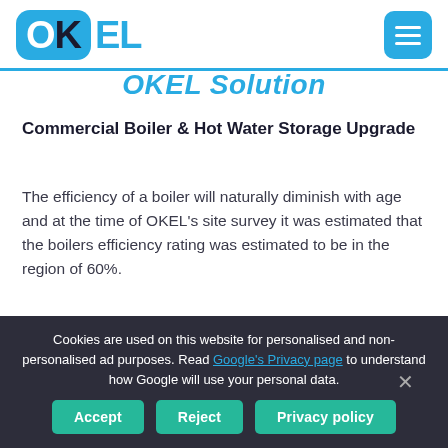[Figure (logo): OKEL logo in blue rounded rectangle with blue text, plus hamburger menu button]
OKEL Solution
Commercial Boiler & Hot Water Storage Upgrade
The efficiency of a boiler will naturally diminish with age and at the time of OKEL's site survey it was estimated that the boilers efficiency rating was estimated to be in the region of 60%.
To provide our customer with a reliable and high
Cookies are used on this website for personalised and non-personalised ad purposes. Read [Google's Privacy page] to understand how Google will use your personal data.